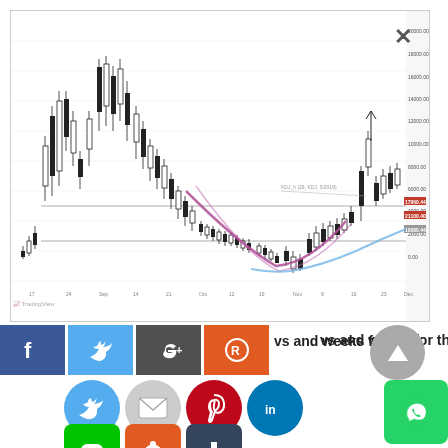[Figure (continuous-plot): Bitcoin/crypto candlestick chart showing price history with moving averages, purple curve (cup pattern), blue moving average curve, horizontal support/resistance lines, and price labels on right axis. TradingView watermark visible at bottom left.]
days and weeks for the
[Figure (infographic): Social media share buttons: Facebook (blue), Twitter (blue), Google+ (dark), Reddit/share (red-orange) on top row; Twitter bird, email, Pinterest, LinkedIn, WhatsApp icons in circle row; Line, Reddit, Tumblr square icons in bottom row. Up-arrow navigation button top right.]